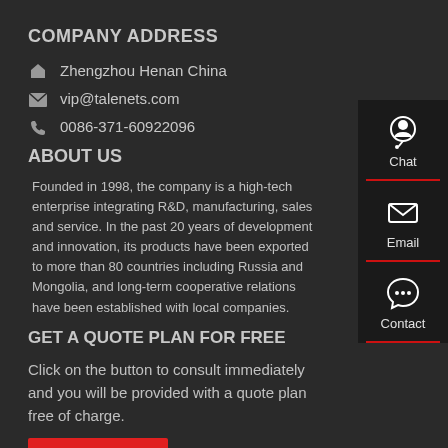COMPANY ADDRESS
Zhengzhou Henan China
vip@talenets.com
0086-371-60922096
ABOUT US
Founded in 1998, the company is a high-tech enterprise integrating R&D, manufacturing, sales and service. In the past 20 years of development and innovation, its products have been exported to more than 80 countries including Russia and Mongolia, and long-term cooperative relations have been established with local companies.
GET A QUOTE PLAN FOR FREE
Click on the button to consult immediately and you will be provided with a quote plan free of charge.
[Figure (infographic): Right sidebar with Chat, Email, and Contact icons on dark background with red dividers]